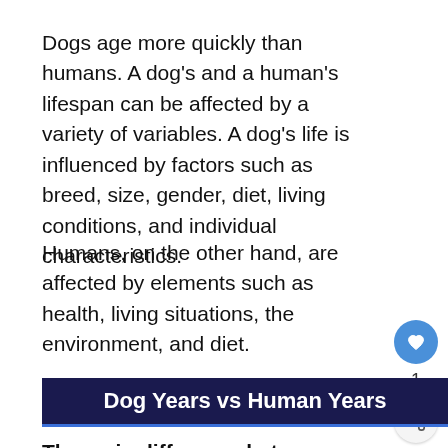Dogs age more quickly than humans. A dog's and a human's lifespan can be affected by a variety of variables. A dog's life is influenced by factors such as breed, size, gender, diet, living conditions, and individual characteristics.
Humans, on the other hand, are affected by elements such as health, living situations, the environment, and diet.
Dog Years vs Human Years
The main difference between dog years and